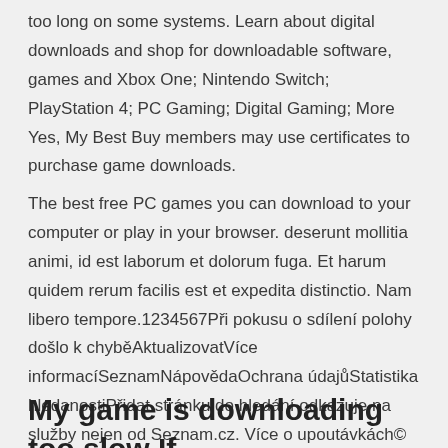too long on some systems. Learn about digital downloads and shop for downloadable software, games and Xbox One; Nintendo Switch; PlayStation 4; PC Gaming; Digital Gaming; More Yes, My Best Buy members may use certificates to purchase game downloads.
The best free PC games you can download to your computer or play in your browser. deserunt mollitia animi, id est laborum et dolorum fuga. Et harum quidem rerum facilis est et expedita distinctio. Nam libero tempore.1234567Při pokusu o sdílení polohy došlo k chyběAktualizovatVíce informacíSeznamNápovědaOchrana údajůStatistika hledanostiPřidat stránku do hledání odkazuje na služby nejen od Seznam.cz. Více o upoutávkách© 1996–2020 Seznam.cz, a.s.
My game is downloading too slow If